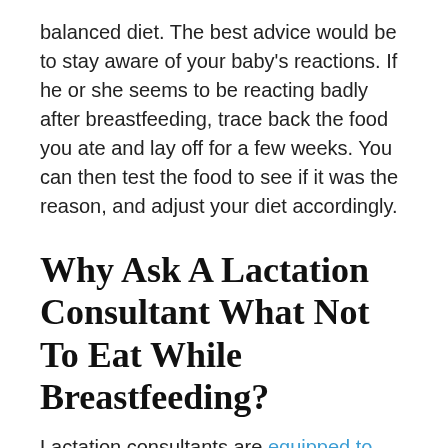balanced diet. The best advice would be to stay aware of your baby's reactions. If he or she seems to be reacting badly after breastfeeding, trace back the food you ate and lay off for a few weeks. You can then test the food to see if it was the reason, and adjust your diet accordingly.
Why Ask A Lactation Consultant What Not To Eat While Breastfeeding?
Lactation consultants are equipped to provide clinical expertise and advice on any and everything related to breastfeeding. That is, after all, their specialty. If in doubt, consult your local IBCLC (International Board Certified Lactation Consultant) on which foods would best suit your baby's health and development. IBCLCs